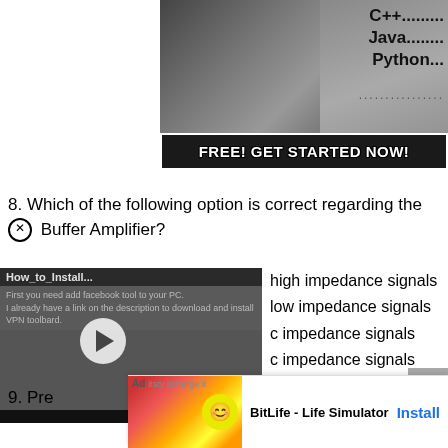[Figure (screenshot): Advertisement banner showing programming languages (C++, Java, Python) with laptop image and 'FREE! GET STARTED NOW!' call to action button]
8. Which of the following option is correct regarding the Buffer Amplifier?
high impedance signals
low impedance signals
c impedance signals
c impedance signals
[Figure (screenshot): Video overlay showing 'How_to_Install...' tutorial video with play button]
9. Pre...
[Figure (screenshot): BitLife - Life Simulator advertisement banner at the bottom with Install button]